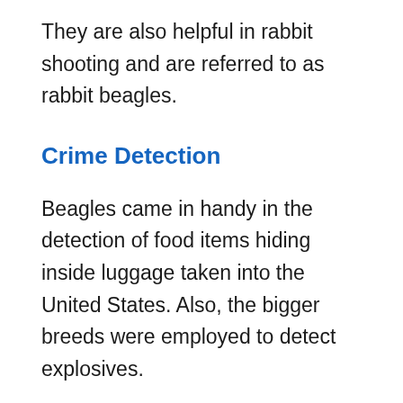They are also helpful in rabbit shooting and are referred to as rabbit beagles.
Crime Detection
Beagles came in handy in the detection of food items hiding inside luggage taken into the United States. Also, the bigger breeds were employed to detect explosives.
Handy In Test And Research
The beagle could help to carry out tests on medical, beauty, cosmetic products, among others.